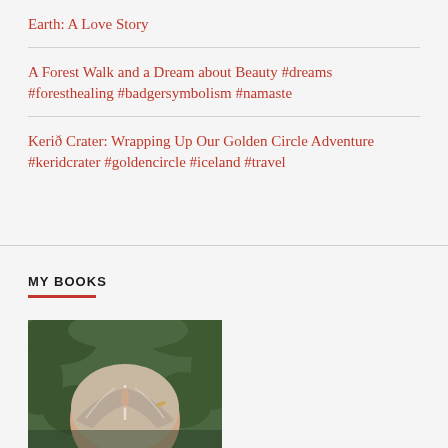Earth: A Love Story
A Forest Walk and a Dream about Beauty #dreams #foresthealing #badgersymbolism #namaste
Kerið Crater: Wrapping Up Our Golden Circle Adventure #keridcrater #goldencircle #iceland #travel
MY BOOKS
[Figure (photo): Top-down view of a person with light hair parted in the middle, set against a green leafy background. Only the top of the head is fully visible.]